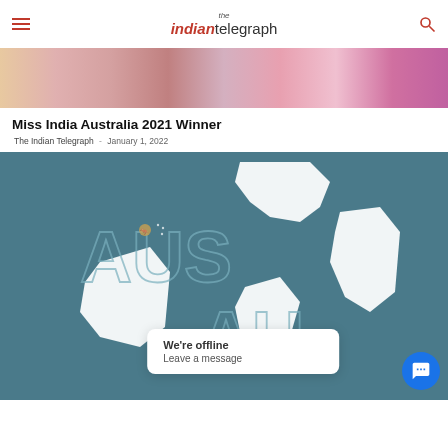the indian telegraph
[Figure (photo): Partial photo at top showing a woman with flowers and decorations, cropped]
Miss India Australia 2021 Winner
The Indian Telegraph  -  January 1, 2022
[Figure (photo): Dark teal/blue background with white silhouette shapes of Australian states/territories and text 'AUS' and 'AU' outlined, with a small kangaroo emblem. A chat popup overlay reads 'We're offline - Leave a message' with a blue chat button.]